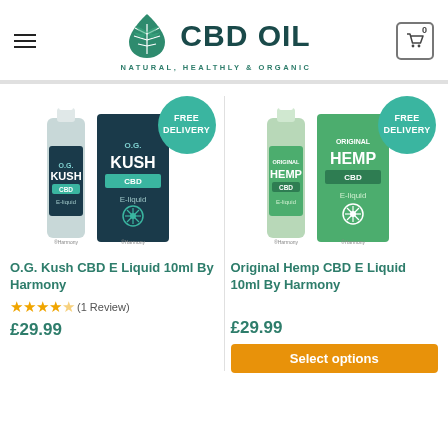[Figure (logo): CBD Oil logo with hemp leaf icon and tagline NATURAL, HEALTHLY & ORGANIC]
[Figure (photo): O.G. Kush CBD E-liquid 10ml bottle and box with FREE DELIVERY badge]
O.G. Kush CBD E Liquid 10ml By Harmony
★★★★☆ (1 Review)
£29.99
[Figure (photo): Original Hemp CBD E-liquid 10ml bottle and box with FREE DELIVERY badge]
Original Hemp CBD E Liquid 10ml By Harmony
£29.99
Select options